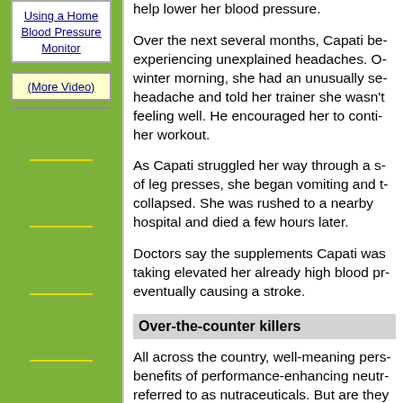Using a Home Blood Pressure Monitor
(More Video)
help lower her blood pressure.
Over the next several months, Capati began experiencing unexplained headaches. On one winter morning, she had an unusually severe headache and told her trainer she wasn't feeling well. He encouraged her to continue her workout.
As Capati struggled her way through a set of leg presses, she began vomiting and then collapsed. She was rushed to a nearby hospital and died a few hours later.
Doctors say the supplements Capati was taking elevated her already high blood pressure, eventually causing a stroke.
Over-the-counter killers
All across the country, well-meaning persons benefits of performance-enhancing nutraceuticals referred to as nutraceuticals. But are they recommendations?